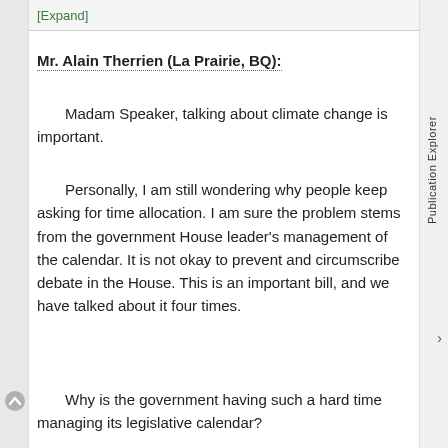[Expand]
Mr. Alain Therrien (La Prairie, BQ):
Madam Speaker, talking about climate change is important.
Personally, I am still wondering why people keep asking for time allocation. I am sure the problem stems from the government House leader's management of the calendar. It is not okay to prevent and circumscribe debate in the House. This is an important bill, and we have talked about it four times.
Why is the government having such a hard time managing its legislative calendar?